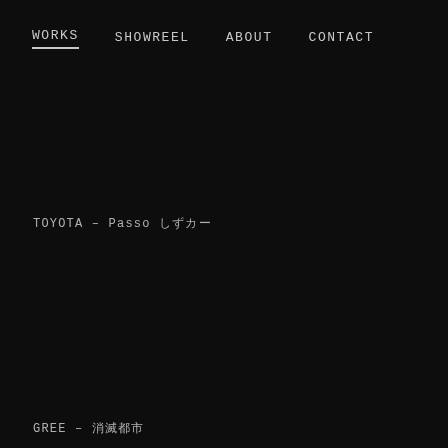WORKS  SHOWREEL  ABOUT  CONTACT
TOYOTA – Passo しずカー
GREE – 消滅都市